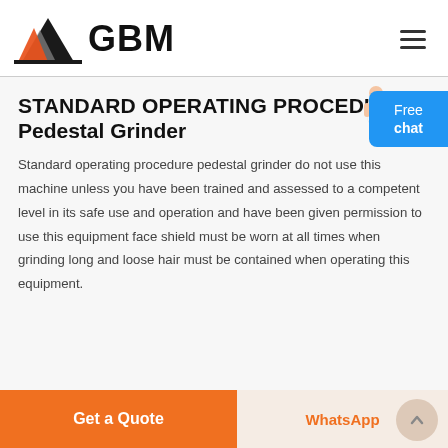[Figure (logo): GBM company logo with triangular mountain shape in orange, gray, and black colors, with bold text 'GBM' to the right]
STANDARD OPERATING PROCEDURE Pedestal Grinder
Standard operating procedure pedestal grinder do not use this machine unless you have been trained and assessed to a competent level in its safe use and operation and have been given permission to use this equipment face shield must be worn at all times when grinding long and loose hair must be contained when operating this equipment.
Get a Quote  WhatsApp